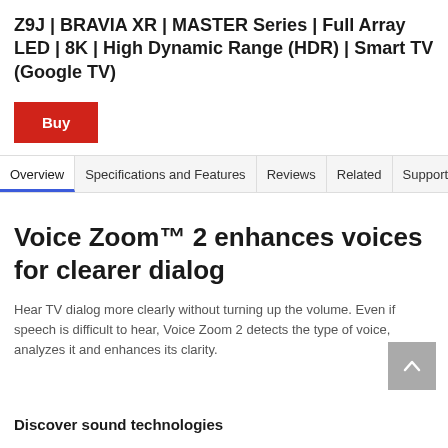Z9J | BRAVIA XR | MASTER Series | Full Array LED | 8K | High Dynamic Range (HDR) | Smart TV (Google TV)
Buy
Overview | Specifications and Features | Reviews | Related | Support
Voice Zoom™ 2 enhances voices for clearer dialog
Hear TV dialog more clearly without turning up the volume. Even if speech is difficult to hear, Voice Zoom 2 detects the type of voice, analyzes it and enhances its clarity.
Discover sound technologies